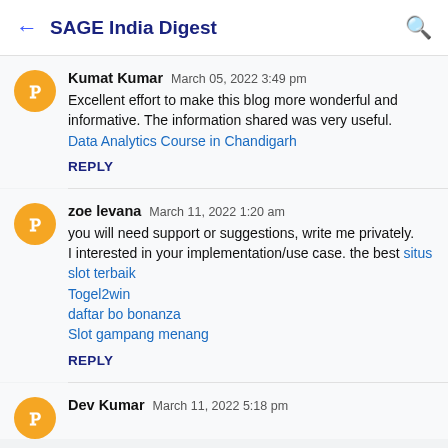SAGE India Digest
Kumat Kumar  March 05, 2022 3:49 pm
Excellent effort to make this blog more wonderful and informative. The information shared was very useful.
Data Analytics Course in Chandigarh
REPLY
zoe levana  March 11, 2022 1:20 am
you will need support or suggestions, write me privately.
I interested in your implementation/use case. the best situs slot terbaik
Togel2win
daftar bo bonanza
Slot gampang menang
REPLY
Dev Kumar  March 11, 2022 5:18 pm